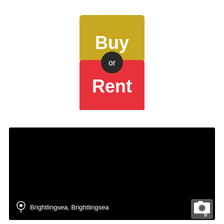[Figure (logo): Buy or Rent logo: square icon with golden-yellow top half showing 'Buy' in white bold text, red bottom half showing 'Rent' in white bold text, and a dark circular badge in the middle with 'or' in white text]
[Figure (screenshot): Dark/black map or video screenshot area with a location pin icon and text 'Brightlingsea, Brightlingsea' in white at the bottom left, and a camera icon with number 5 in the bottom right corner]